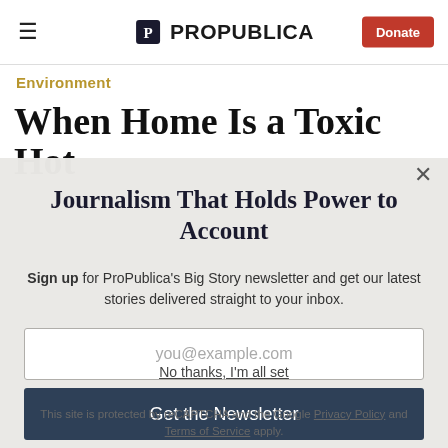ProPublica — Donate
Environment
When Home Is a Toxic Hot
Journalism That Holds Power to Account
Sign up for ProPublica's Big Story newsletter and get our latest stories delivered straight to your inbox.
you@example.com
Get the Newsletter
No thanks, I'm all set
This site is protected by reCAPTCHA and the Google Privacy Policy and Terms of Service apply.